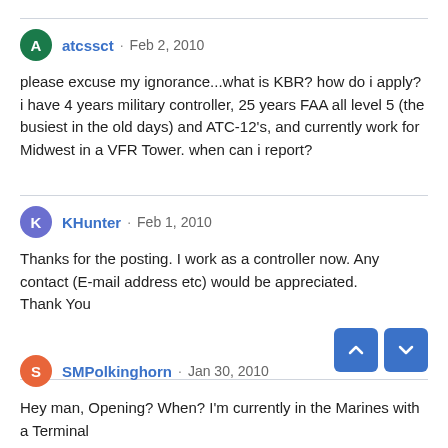atcssct · Feb 2, 2010
please excuse my ignorance...what is KBR? how do i apply? i have 4 years military controller, 25 years FAA all level 5 (the busiest in the old days) and ATC-12's, and currently work for Midwest in a VFR Tower. when can i report?
KHunter · Feb 1, 2010
Thanks for the posting. I work as a controller now. Any contact (E-mail address etc) would be appreciated.
Thank You
SMPolkinghorn · Jan 30, 2010
Hey man, Opening? When? I'm currently in the Marines with a Terminal